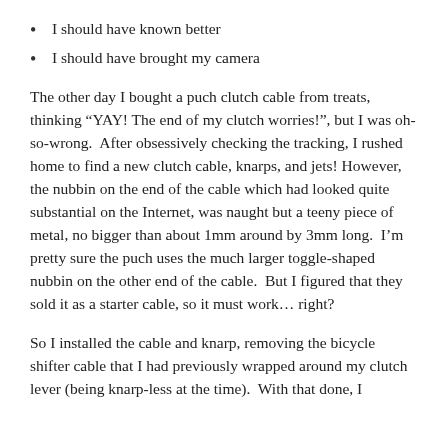I should have known better
I should have brought my camera
The other day I bought a puch clutch cable from treats, thinking “YAY! The end of my clutch worries!”, but I was oh-so-wrong.  After obsessively checking the tracking, I rushed home to find a new clutch cable, knarps, and jets! However, the nubbin on the end of the cable which had looked quite substantial on the Internet, was naught but a teeny piece of metal, no bigger than about 1mm around by 3mm long.  I’m pretty sure the puch uses the much larger toggle-shaped nubbin on the other end of the cable.  But I figured that they sold it as a starter cable, so it must work… right?
So I installed the cable and knarp, removing the bicycle shifter cable that I had previously wrapped around my clutch lever (being knarp-less at the time).  With that done, I